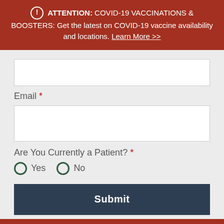ATTENTION: COVID-19 VACCINATIONS & BOOSTERS: Get the latest on COVID-19 vaccine availability and locations. Learn More >>
Email *
Are You Currently a Patient? *
Yes
No
Submit